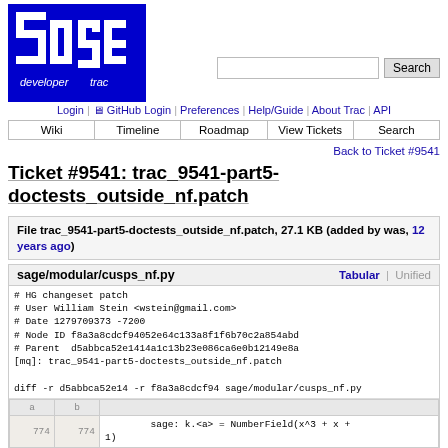[Figure (logo): Sage developer trac logo - white text on blue background with 'sage' in large letters, 'developer' and 'trac' below]
Login | GitHub Login | Preferences | Help/Guide | About Trac | API
Wiki | Timeline | Roadmap | View Tickets | Search
Back to Ticket #9541
Ticket #9541: trac_9541-part5-doctests_outside_nf.patch
File trac_9541-part5-doctests_outside_nf.patch, 27.1 KB (added by was, 12 years ago)
sage/modular/cusps_nf.py
# HG changeset patch
# User William Stein <wstein@gmail.com>
# Date 1279709373 -7200
# Node ID f8a3a8cdcf94052e64c133a8f1f6b70c2a854abd
# Parent  d5abbca52e1414a1c13b23e086ca6e0b12149e8a
[mq]: trac_9541-part5-doctests_outside_nf.patch

diff -r d5abbca52e14 -r f8a3a8cdcf94 sage/modular/cusps_nf.py
| a | b |  |
| --- | --- | --- |
| 774 | 774 |         sage: k.<a> = NumberField(x^3 + x + 1) |
| 775 | 775 |         sage: kCusps = NFCusps(k) |